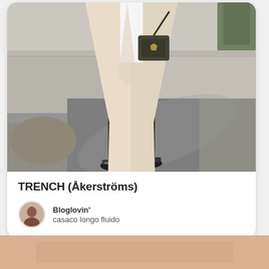[Figure (photo): Fashion photo showing a person wearing black skinny jeans, black loafers, a white top, and a long beige/cream trench coat, carrying a small dark crossbody bag, photographed on a stone pavement outdoors.]
TRENCH (Åkerströms)
Bloglovin'
casaco longo fluido
[Figure (photo): Partial bottom image, showing warm skin-toned background, beginning of a second fashion card.]